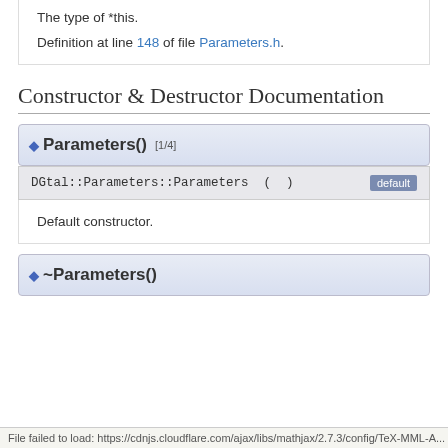The type of *this.
Definition at line 148 of file Parameters.h.
Constructor & Destructor Documentation
◆ Parameters() [1/4]
DGtal::Parameters::Parameters ( )    default
Default constructor.
◆ ~Parameters()
File failed to load: https://cdnjs.cloudflare.com/ajax/libs/mathjax/2.7.3/config/TeX-MML-A...